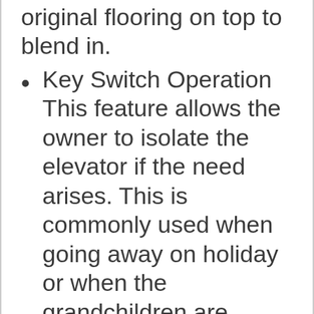original flooring on top to blend in.
Key Switch Operation This feature allows the owner to isolate the elevator if the need arises. This is commonly used when going away on holiday or when the grandchildren are around.
Top & Bottom Safety Pans Using our obstruction